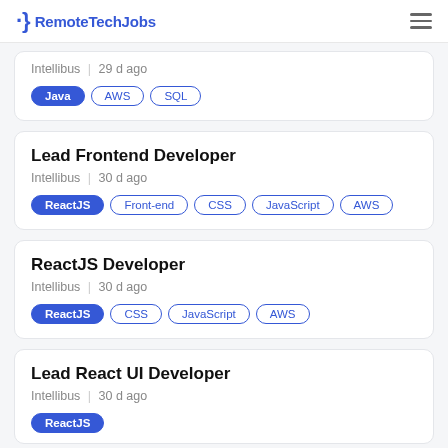RemoteTechJobs
Intellibus | 29 d ago
Tags: Java, AWS, SQL
Lead Frontend Developer
Intellibus | 30 d ago
Tags: ReactJS, Front-end, CSS, JavaScript, AWS
ReactJS Developer
Intellibus | 30 d ago
Tags: ReactJS, CSS, JavaScript, AWS
Lead React UI Developer
Intellibus | 30 d ago